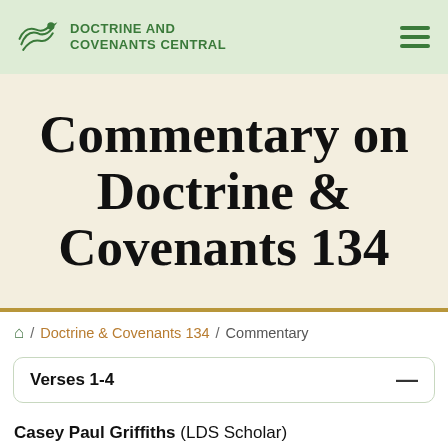Doctrine and Covenants Central
Commentary on Doctrine & Covenants 134
🏠 / Doctrine & Covenants 134 / Commentary
Verses 1-4
Casey Paul Griffiths (LDS Scholar)